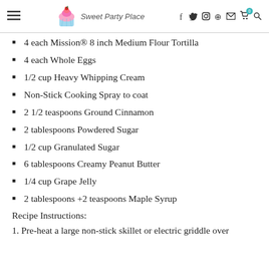Sweet Party Place
4 each Mission® 8 inch Medium Flour Tortilla
4 each Whole Eggs
1/2 cup Heavy Whipping Cream
Non-Stick Cooking Spray to coat
2 1/2 teaspoons Ground Cinnamon
2 tablespoons Powdered Sugar
1/2 cup Granulated Sugar
6 tablespoons Creamy Peanut Butter
1/4 cup Grape Jelly
2 tablespoons +2 teaspoons Maple Syrup
Recipe Instructions:
1. Pre-heat a large non-stick skillet or electric griddle over